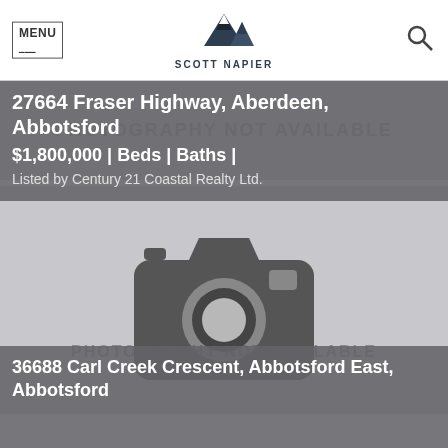MENU | SCOTT NAPIER
27664 Fraser Highway, Aberdeen, Abbotsford
$1,800,000 | Beds | Baths |
Listed by Century 21 Coastal Realty Ltd.
[Figure (photo): Photography not available placeholder with camera icon]
36688 Carl Creek Crescent, Abbotsford East, Abbotsford